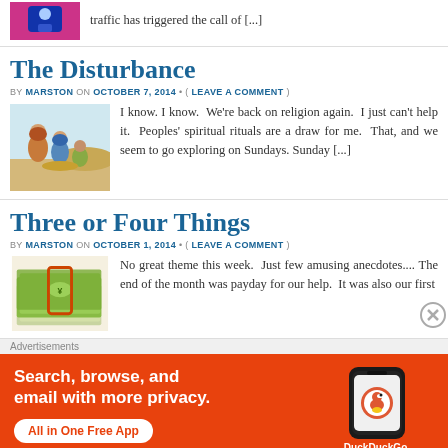traffic has triggered the call of [...]
The Disturbance
BY MARSTON ON OCTOBER 7, 2014 • ( LEAVE A COMMENT )
I know. I know.  We're back on religion again.  I just can't help it.  Peoples' spiritual rituals are a draw for me.  That, and we seem to go exploring on Sundays. Sunday [...]
Three or Four Things
BY MARSTON ON OCTOBER 1, 2014 • ( LEAVE A COMMENT )
No great theme this week.  Just few amusing anecdotes.... The end of the month was payday for our help.  It was also our first
Advertisements
[Figure (infographic): DuckDuckGo advertisement banner: orange background with text 'Search, browse, and email with more privacy. All in One Free App' and an illustration of a smartphone with the DuckDuckGo logo and brand name]